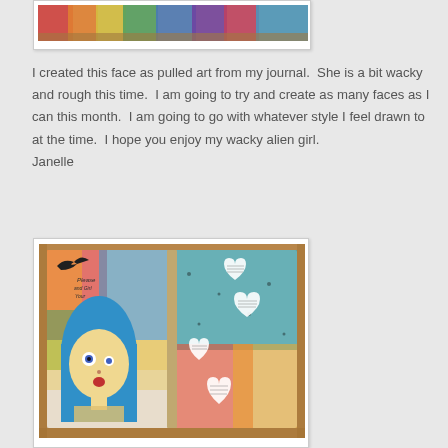[Figure (photo): Top portion of a photo showing colorful journal art with strips of color at the top]
I created this face as pulled art from my journal.  She is a bit wacky and rough this time.  I am going to try and create as many faces as I can this month.  I am going to go with whatever style I feel drawn to at the time.  I hope you enjoy my wacky alien girl.
Janelle
[Figure (photo): Open art journal with colorful mixed media pages showing a blue-haired girl with wide eyes on the left page, and three white heart shapes with handwritten text on a teal/orange abstract background on the right page. A black bird silhouette is visible in the upper left.]